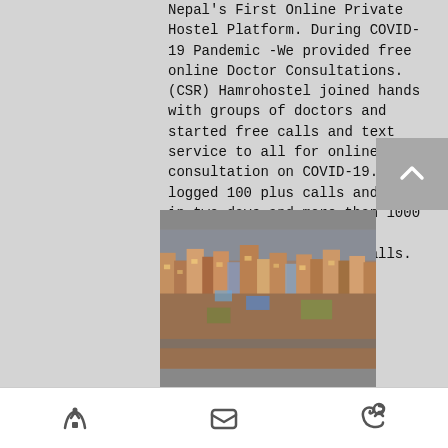Nepal's First Online Private Hostel Platform. During COVID-19 Pandemic -We provided free online Doctor Consultations. (CSR) Hamrohostel joined hands with groups of doctors and started free calls and text service to all for online consultation on COVID-19. We logged 100 plus calls and texts in two days and more than 1000 plus queries were solved through text and voice calls.
[Figure (photo): Aerial view of a densely populated urban area, likely Kathmandu, Nepal, showing packed buildings and streets.]